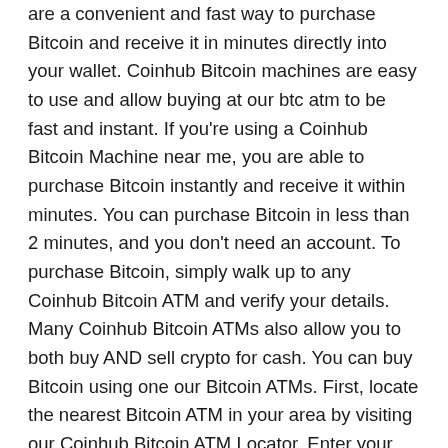are a convenient and fast way to purchase Bitcoin and receive it in minutes directly into your wallet. Coinhub Bitcoin machines are easy to use and allow buying at our btc atm to be fast and instant. If you're using a Coinhub Bitcoin Machine near me, you are able to purchase Bitcoin instantly and receive it within minutes. You can purchase Bitcoin in less than 2 minutes, and you don't need an account. To purchase Bitcoin, simply walk up to any Coinhub Bitcoin ATM and verify your details. Many Coinhub Bitcoin ATMs also allow you to both buy AND sell crypto for cash. You can buy Bitcoin using one our Bitcoin ATMs. First, locate the nearest Bitcoin ATM in your area by visiting our Coinhub Bitcoin ATM Locator. Enter your phone number and walk up to the machine. You will then verify your phone with a code and scan your bitcoin wallet. Enter bills one bill at a time for the amount you would like to purchase and confirm the bitcoin atm prior to purchase. Bitcoin is then instantly sent to your wallet. The daily limit for buying Bitcoin is $25,000. There are Bitcoin Machines located in major cities across the country. Visit a Coinhub Bitcoin